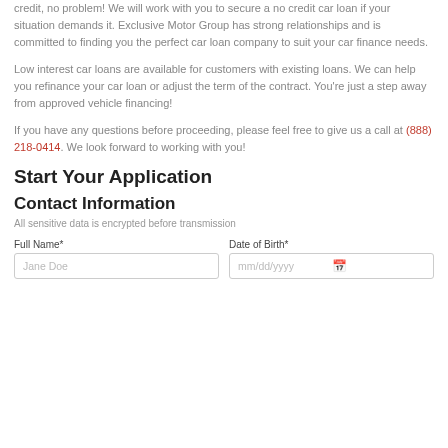credit, no problem! We will work with you to secure a no credit car loan if your situation demands it. Exclusive Motor Group has strong relationships and is committed to finding you the perfect car loan company to suit your car finance needs.
Low interest car loans are available for customers with existing loans. We can help you refinance your car loan or adjust the term of the contract. You're just a step away from approved vehicle financing!
If you have any questions before proceeding, please feel free to give us a call at (888) 218-0414. We look forward to working with you!
Start Your Application
Contact Information
All sensitive data is encrypted before transmission
Full Name* | Date of Birth*